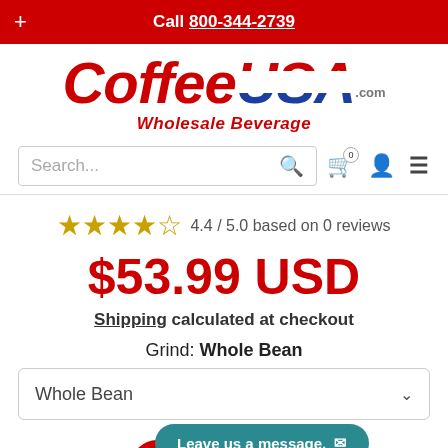Call 800-344-2739
[Figure (logo): Coffee USA .com Wholesale Beverage logo with red Coffee text and American flag styled USA text]
Search...
4.4 / 5.0 based on 0 reviews
$53.99 USD
Shipping calculated at checkout
Grind: Whole Bean
Whole Bean
Leave us a message.
1